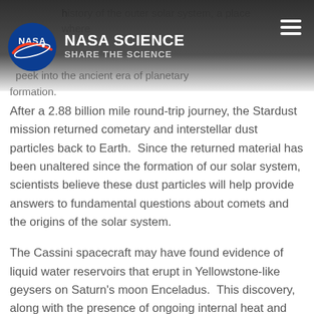NASA SCIENCE / SHARE THE SCIENCE
history of the outer solar system, a place where we can peek into the ancient era of planetary formation.
After a 2.88 billion mile round-trip journey, the Stardust mission returned cometary and interstellar dust particles back to Earth.  Since the returned material has been unaltered since the formation of our solar system, scientists believe these dust particles will help provide answers to fundamental questions about comets and the origins of the solar system.
The Cassini spacecraft may have found evidence of liquid water reservoirs that erupt in Yellowstone-like geysers on Saturn's moon Enceladus.  This discovery, along with the presence of ongoing internal heat and